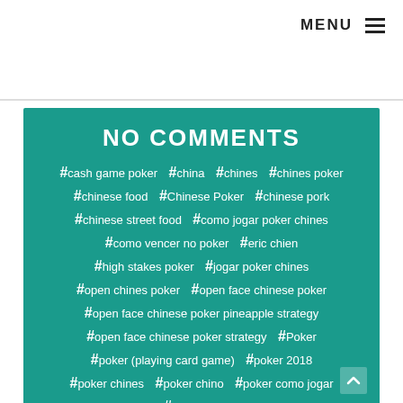MENU ☰
NO COMMENTS
#cash game poker #china #chines #chines poker
#chinese food #Chinese Poker #chinese pork
#chinese street food #como jogar poker chines
#como vencer no poker #eric chien
#high stakes poker #jogar poker chines
#open chines poker #open face chinese poker
#open face chinese poker pineapple strategy
#open face chinese poker strategy #Poker
#poker (playing card game) #poker 2018
#poker chines #poker chino #poker como jogar
#Poker Online